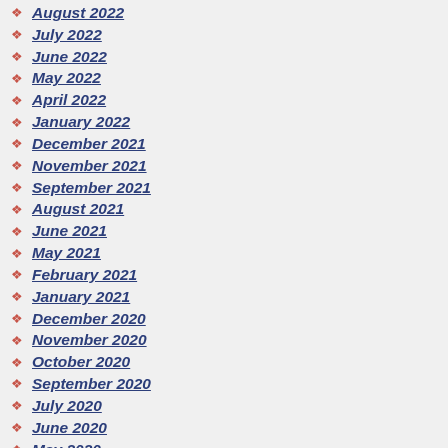August 2022
July 2022
June 2022
May 2022
April 2022
January 2022
December 2021
November 2021
September 2021
August 2021
June 2021
May 2021
February 2021
January 2021
December 2020
November 2020
October 2020
September 2020
July 2020
June 2020
May 2020
April 2020
March 2020
February 2020
January 2020
December 2019
November 2019
October 2019
August 2019
June 2019